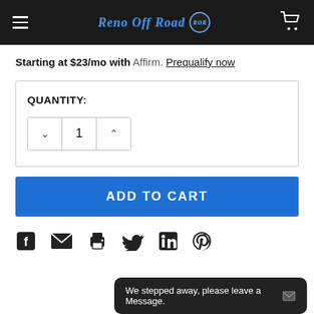Reno Off Road ROR
Starting at $23/mo with Affirm. Prequalify now
QUANTITY: 1
ADD TO CART
[Figure (other): Social sharing icons: Facebook, Email, Print, Twitter, LinkedIn, Pinterest]
We stepped away, please leave a Message.